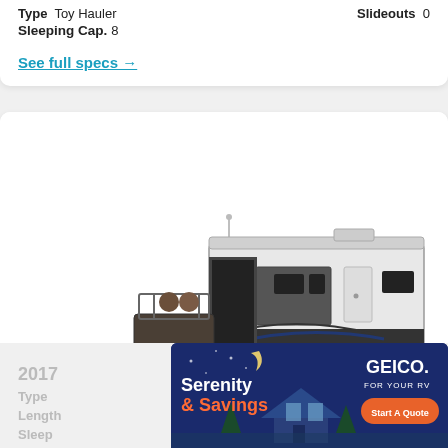Type  Toy Hauler    Slideouts  0
Sleeping Cap.  8
See full specs →
[Figure (photo): White and black toy hauler RV trailer with a UTV/side-by-side ATV loaded via ramp door at the rear]
2017
Type
Length
Sleep
[Figure (other): GEICO advertisement banner: 'Serenity & Savings FOR YOUR RV' with Start A Quote button, dark navy background with illustrated cabin scene]